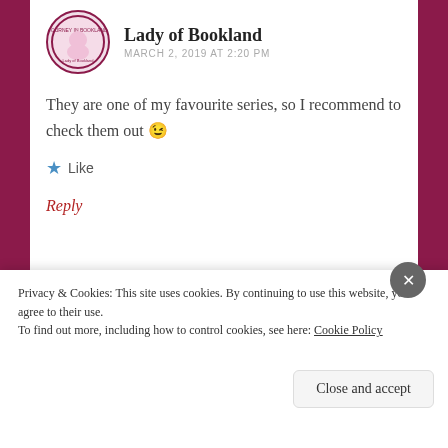Lady of Bookland
MARCH 2, 2019 AT 2:20 PM
They are one of my favourite series, so I recommend to check them out 😉
★ Like
Reply
[Figure (screenshot): Green advertisement bar with partial text visible]
REPORT THIS AD
Privacy & Cookies: This site uses cookies. By continuing to use this website, you agree to their use.
To find out more, including how to control cookies, see here: Cookie Policy
Close and accept